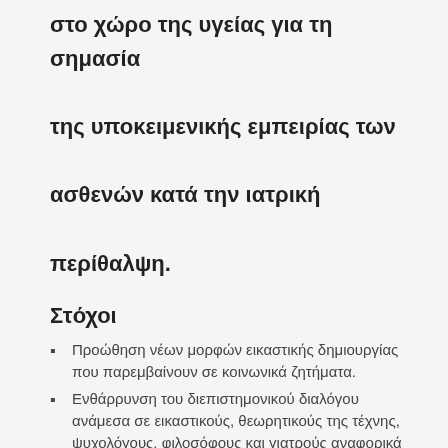στο χώρο της υγείας για τη σημασία της υποκειμενικής εμπειρίας των ασθενών κατά την ιατρική περίθαλψη.
Στόχοι
Προώθηση νέων μορφών εικαστικής δημιουργίας που παρεμβαίνουν σε κοινωνικά ζητήματα.
Ενθάρρυνση του διεπιστημονικού διαλόγου ανάμεσα σε εικαστικούς, θεωρητικούς της τέχνης, ψυχολόγους, φιλοσόφους και γιατρούς αναφορικά με το νόημα της ασθένειας και την κατανόηση της φαινομενολογίας της.
Υποστήριξη ακαδημαϊκής έρευνας στα πεδία της φιλοσοφίας και της